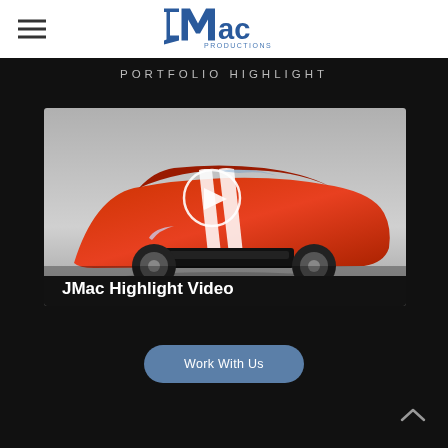[Figure (logo): JMac Productions logo in blue metallic style text with angular J and M letters]
PORTFOLIO HIGHLIGHT
[Figure (screenshot): Video thumbnail showing a red Ford Mustang with white racing stripes on a white studio background, with a white circular play button overlay and 'JMac Highlight Video' text at the bottom]
Work With Us